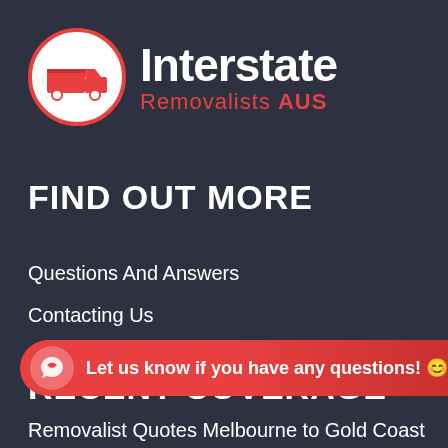[Figure (logo): Interstate Removalists AUS logo: red circle with white truck icon on left, white 'Interstate' text and red 'Removalists AUS' text on right]
FIND OUT MORE
Questions And Answers
Contacting Us
RECENT COVERAGE
[Figure (screenshot): Chat banner overlay: red pill-shaped banner with chat icon, text 'Let us know if you have any questions! 😊' and chevron up arrow]
Removalist Quotes Melbourne to Gold Coast